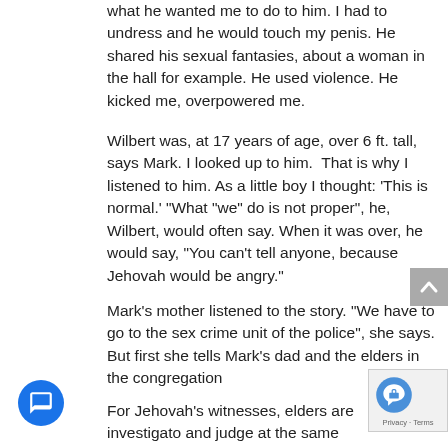what he wanted me to do to him. I had to undress and he would touch my penis. He shared his sexual fantasies, about a woman in the hall for example. He used violence. He kicked me, overpowered me.
Wilbert was, at 17 years of age, over 6 ft. tall, says Mark. I looked up to him.  That is why I listened to him. As a little boy I thought: 'This is normal.' "What "we" do is not proper", he, Wilbert, would often say. When it was over, he would say, "You can't tell anyone, because Jehovah would be angry."
Mark's mother listened to the story. "We have to go to the sex crime unit of the police", she says. But first she tells Mark's dad and the elders in the congregation
For Jehovah's witnesses, elders are investigato and judge at the same time. They investigate a possible offence and handle it in-house, if there is a possible offence and if...